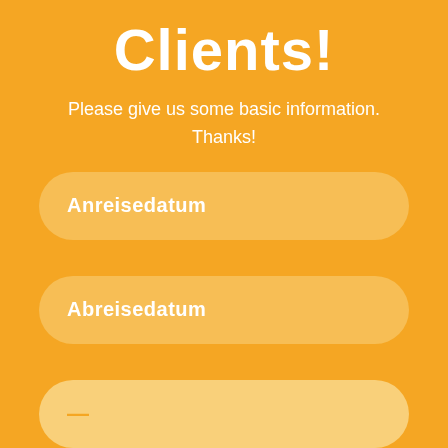Clients!
Please give us some basic information. Thanks!
Anreisedatum
Abreisedatum
—